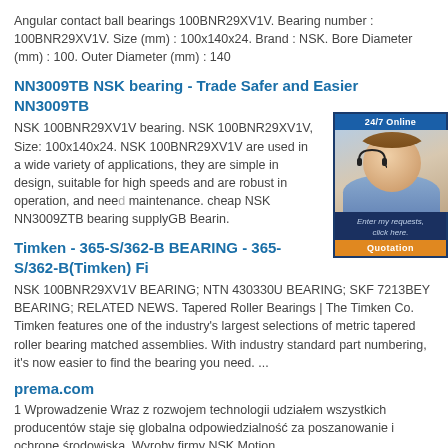Angular contact ball bearings 100BNR29XV1V. Bearing number : 100BNR29XV1V. Size (mm) : 100x140x24. Brand : NSK. Bore Diameter (mm) : 100. Outer Diameter (mm) : 140
NN3009TB NSK bearing - Trade Safer and Easier NN3009TB
NSK 100BNR29XV1V bearing. NSK 100BNR29XV1V, Size: 100x140x24. NSK 100BNR29XV1V are used in a wide variety of applications, they are simple in design, suitable for high speeds and are robust in operation, and need maintenance. cheap NSK NN3009ZTB bearing supplyGB Bearin.
Timken - 365-S/362-B BEARING - 365-S/362-B(Timken) Fi
NSK 100BNR29XV1V BEARING; NTN 430330U BEARING; SKF 7213BEY BEARING; RELATED NEWS. Tapered Roller Bearings | The Timken Co. Timken features one of the industry's largest selections of metric tapered roller bearing matched assemblies. With industry standard part numbering, it's now easier to find the bearing you need. ...
prema.com
1 Wprowadzenie Wraz z rozwojem technologii udziałem wszystkich producentów staje się globalna odpowiedzialność za poszanowanie i ochronę środowiska. Wyroby firmy NSK Motion
Buy 150x70x35 bearing at Wholesale